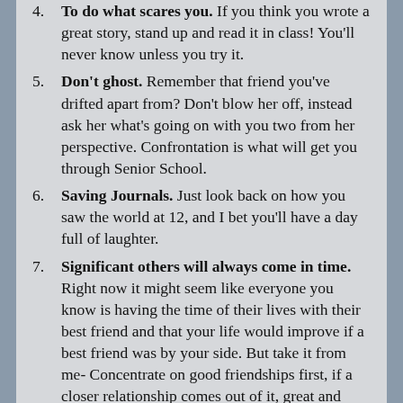To do what scares you. If you think you wrote a great story, stand up and read it in class! You'll never know unless you try it.
Don't ghost. Remember that friend you've drifted apart from? Don't blow her off, instead ask her what's going on with you two from her perspective. Confrontation is what will get you through Senior School.
Saving Journals. Just look back on how you saw the world at 12, and I bet you'll have a day full of laughter.
Significant others will always come in time. Right now it might seem like everyone you know is having the time of their lives with their best friend and that your life would improve if a best friend was by your side. But take it from me- Concentrate on good friendships first, if a closer relationship comes out of it, great and even if it